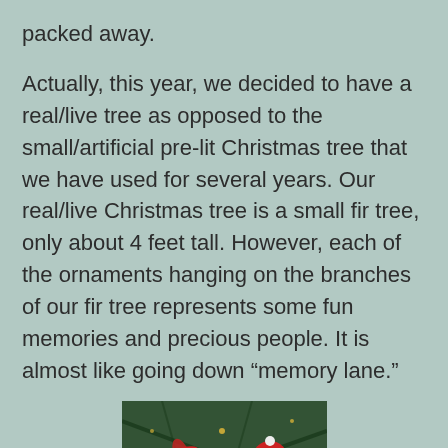packed away.
Actually, this year, we decided to have a real/live tree as opposed to the small/artificial pre-lit Christmas tree that we have used for several years. Our real/live Christmas tree is a small fir tree, only about 4 feet tall. However, each of the ornaments hanging on the branches of our fir tree represents some fun memories and precious people. It is almost like going down “memory lane.”
[Figure (photo): A close-up photograph of a Christmas tree with ornaments including what appears to be red ribbons and a Santa hat ornament on green fir branches.]